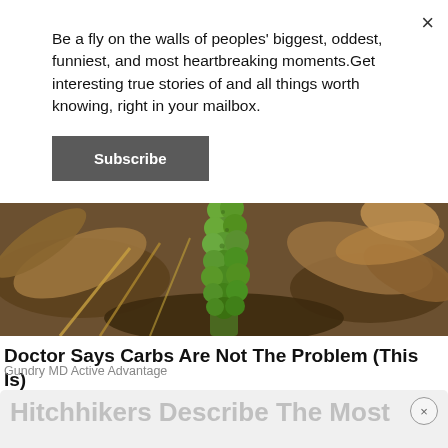Be a fly on the walls of peoples' biggest, oddest, funniest, and most heartbreaking moments.Get interesting true stories of and all things worth knowing, right in your mailbox.
Subscribe
[Figure (photo): Brussels sprouts plant stalk with green sprouts, surrounded by dried leaves and soil]
Doctor Says Carbs Are Not The Problem (This Is)
Gundry MD Active Advantage
Hitchhikers Describe The Most